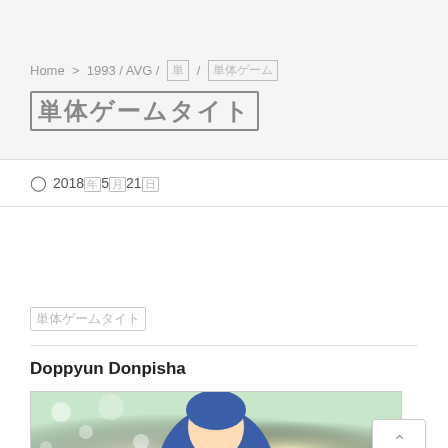Home > 1993 / AVG / 単 / 単体ゲーム
単体ゲームタイト
⊙ 2018年5月21日
単体ゲームタイト
Doppyun Donpisha
[Figure (illustration): Anime-style illustration of a female character with blue hair against a green/yellow background, partially visible at bottom of page]